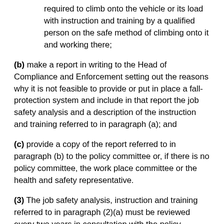required to climb onto the vehicle or its load with instruction and training by a qualified person on the safe method of climbing onto it and working there;
(b) make a report in writing to the Head of Compliance and Enforcement setting out the reasons why it is not feasible to provide or put in place a fall-protection system and include in that report the job safety analysis and a description of the instruction and training referred to in paragraph (a); and
(c) provide a copy of the report referred to in paragraph (b) to the policy committee or, if there is no policy committee, the work place committee or the health and safety representative.
(3) The job safety analysis, instruction and training referred to in paragraph (2)(a) must be reviewed every two years in consultation with the policy